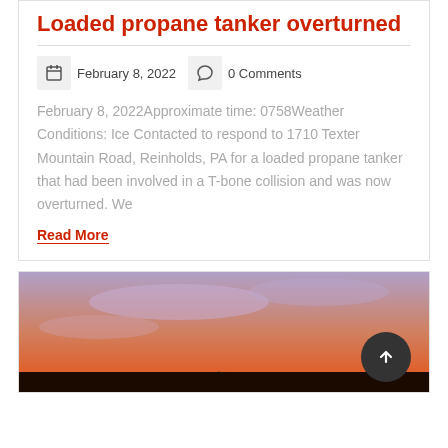Loaded propane tanker overturned
February 8, 2022    0 Comments
February 8, 2022Approximate time: 0758Weather Conditions: Ice Contacted to respond to 1710 Texter Mountain Road, Reinholds, PA for a loaded propane tanker that had been involved in a T-bone collision and was now overturned. We
Read More
[Figure (photo): Sunset or twilight sky with orange and purple hues, silhouettes of birds or figures at bottom]